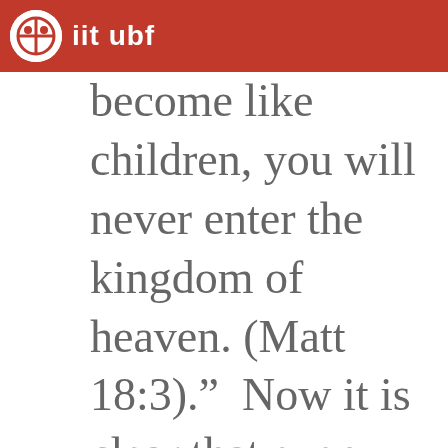iit ubf
become like children, you will never enter the kingdom of heaven. (Matt 18:3)." Now it is clear that even